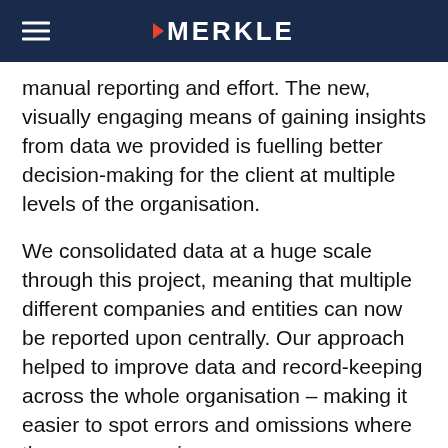MERKLE
manual reporting and effort. The new, visually engaging means of gaining insights from data we provided is fuelling better decision-making for the client at multiple levels of the organisation.
We consolidated data at a huge scale through this project, meaning that multiple different companies and entities can now be reported upon centrally. Our approach helped to improve data and record-keeping across the whole organisation – making it easier to spot errors and omissions where they were occurring.